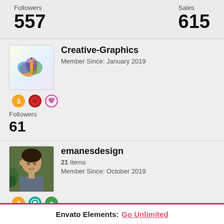Followers
557
Sales
615
Creative-Graphics
Member Since: January 2019
Followers
61
emanesdesign
21 Items
Member Since: October 2019
Envato Elements: Go Unlimited